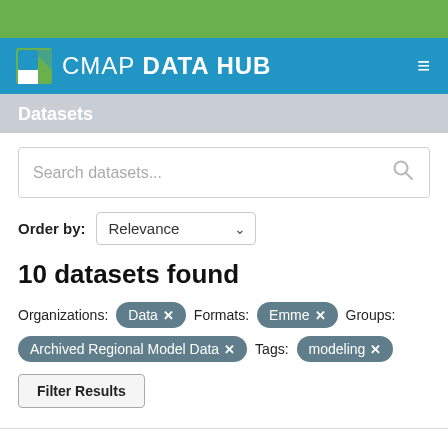CMAP DATA HUB
Datasets
Search datasets...
Order by: Relevance
10 datasets found
Organizations: Data ✕   Formats: Emme ✕   Groups:
Archived Regional Model Data ✕   Tags: modeling ✕
Filter Results